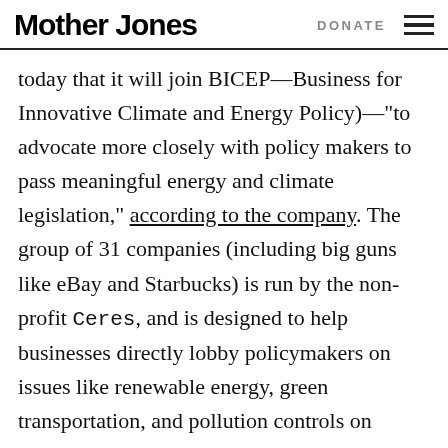Mother Jones  DONATE
today that it will join BICEP—Business for Innovative Climate and Energy Policy)—"to advocate more closely with policy makers to pass meaningful energy and climate legislation," according to the company. The group of 31 companies (including big guns like eBay and Starbucks) is run by the non-profit Ceres, and is designed to help businesses directly lobby policymakers on issues like renewable energy, green transportation, and pollution controls on